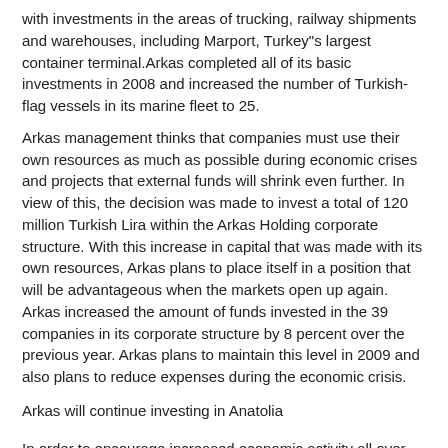with investments in the areas of trucking, railway shipments and warehouses, including Marport, Turkey"s largest container terminal.Arkas completed all of its basic investments in 2008 and increased the number of Turkish-flag vessels in its marine fleet to 25.
Arkas management thinks that companies must use their own resources as much as possible during economic crises and projects that external funds will shrink even further. In view of this, the decision was made to invest a total of 120 million Turkish Lira within the Arkas Holding corporate structure. With this increase in capital that was made with its own resources, Arkas plans to place itself in a position that will be advantageous when the markets open up again. Arkas increased the amount of funds invested in the 39 companies in its corporate structure by 8 percent over the previous year. Arkas plans to maintain this level in 2009 and also plans to reduce expenses during the economic crisis.
Arkas will continue investing in Anatolia
In order to encourage increased economic activity all over Turkey, Arkas started the Arkas Anatolia Project in 2003 by implementing combined transport via sea, land and rail. Through this project, Arkas will connect the nine largest commercial cities in Turkey (Izmir, Istanbul, Kayseri, Konya, Bursa, Ankara, Eski?ehir, Gaziantep and Mersin) to port cities as well. Arkas Holding also aims to use the domestic